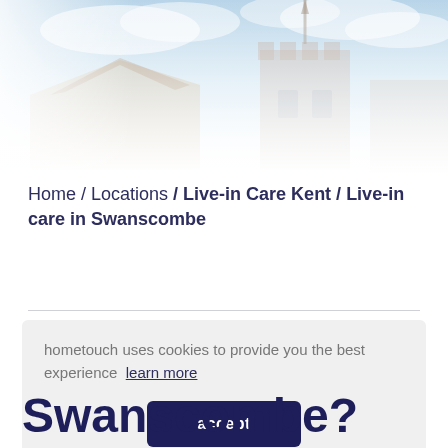[Figure (photo): Faded photograph of a historic stone building with a tower and pitched roof against a light blue sky with clouds]
Home / Locations / Live-in Care Kent / Live-in care in Swanscombe
hometouch uses cookies to provide you the best experience  learn more
accept
Swanscombe?